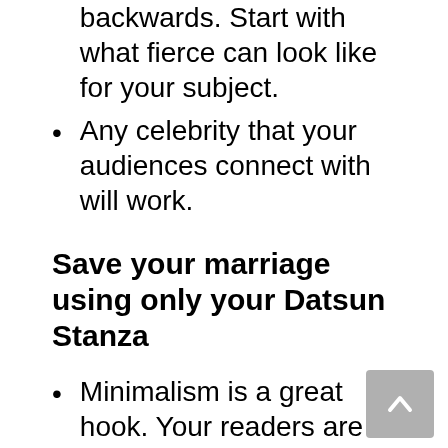backwards. Start with what fierce can look like for your subject.
Any celebrity that your audiences connect with will work.
Save your marriage using only your Datsun Stanza
Minimalism is a great hook. Your readers are always looking for a single solution to every problem.
This could get interesting.